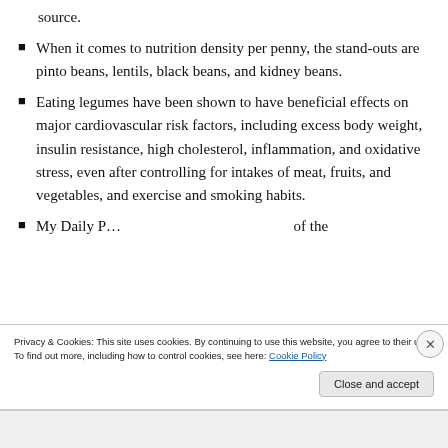source.
When it comes to nutrition density per penny, the stand-outs are pinto beans, lentils, black beans, and kidney beans.
Eating legumes have been shown to have beneficial effects on major cardiovascular risk factors, including excess body weight, insulin resistance, high cholesterol, inflammation, and oxidative stress, even after controlling for intakes of meat, fruits, and vegetables, and exercise and smoking habits.
My Daily D… [partial, cut off]
Privacy & Cookies: This site uses cookies. By continuing to use this website, you agree to their use. To find out more, including how to control cookies, see here: Cookie Policy